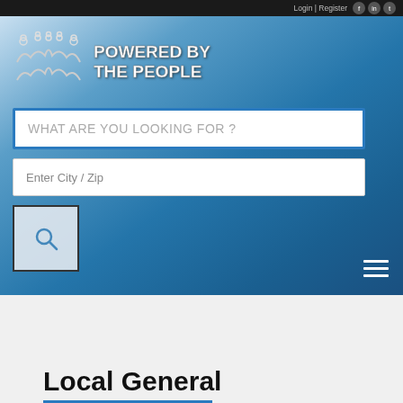Login | Register
[Figure (logo): Powered By The People logo with stylized people figures and text 'POWERED BY THE PEOPLE']
WHAT ARE YOU LOOKING FOR ?
Enter City / Zip
Local General